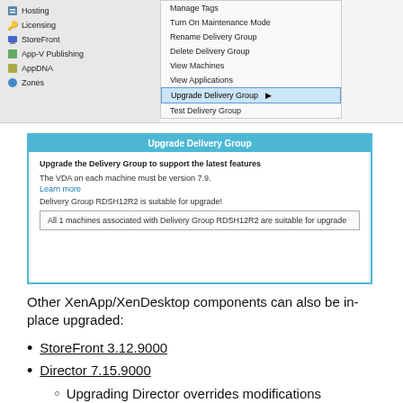[Figure (screenshot): Windows context menu showing options including Manage Tags, Turn On Maintenance Mode, Rename Delivery Group, Delete Delivery Group, View Machines, View Applications, Upgrade Delivery Group (highlighted), Test Delivery Group, with navigation panel on left showing Hosting, Licensing, StoreFront, App-V Publishing, AppDNA, Zones]
[Figure (screenshot): Upgrade Delivery Group dialog window showing: 'Upgrade the Delivery Group to support the latest features', 'The VDA on each machine must be version 7.9.', 'Learn more' link, 'Delivery Group RDSH12R2 is suitable for upgrade!', and text box 'All 1 machines associated with Delivery Group RDSH12R2 are suitable for upgrade']
Other XenApp/XenDesktop components can also be in-place upgraded:
StoreFront 3.12.9000
Director 7.15.9000
Upgrading Director overrides modifications